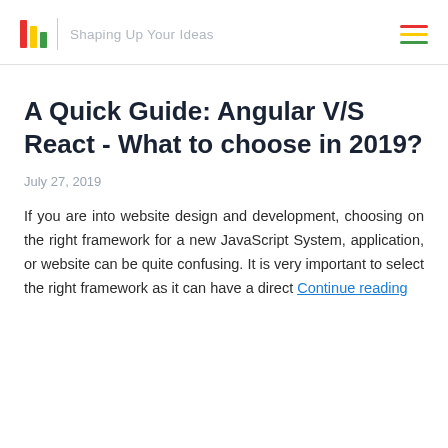Shaping Up Your Ideas
A Quick Guide: Angular V/S React - What to choose in 2019?
July 27, 2019
If you are into website design and development, choosing on the right framework for a new JavaScript System, application, or website can be quite confusing. It is very important to select the right framework as it can have a direct Continue reading